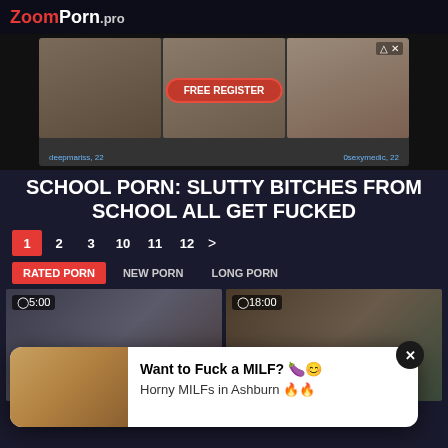ZoomPorn.pro
[Figure (photo): Advertisement banner with three female photos and FREE REGISTER button, usernames deepmariss 22 and 0sexymedic 22]
SCHOOL PORN: SLUTTY BITCHES FROM SCHOOL ALL GET FUCKED
1  2  3  10  11  12  >
RATED PORN  NEW PORN  LONG PORN
[Figure (screenshot): Video thumbnail with clock icon showing 5:00 duration]
[Figure (screenshot): Video thumbnail with clock icon showing 18:00 duration]
[Figure (photo): Popup overlay: Want to Fuck a MILF? Horny MILFs in Ashburn with close button and female photo]